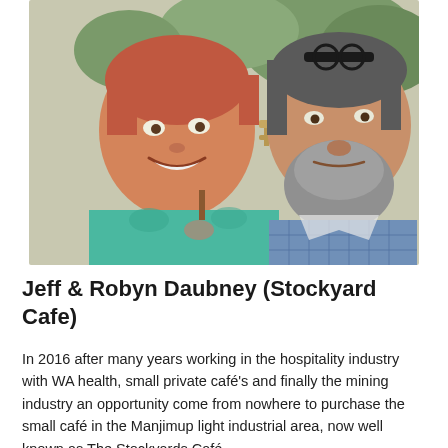[Figure (photo): A smiling couple taking a selfie outdoors. The woman on the left has short reddish hair and is wearing a teal/turquoise floral top. The man on the right has a grey beard and is wearing a blue checked shirt. In the background there is a dark animal sculpture and trees.]
Jeff & Robyn Daubney (Stockyard Cafe)
In 2016 after many years working in the hospitality industry with WA health, small private café's and finally the mining industry an opportunity come from nowhere to purchase the small café in the Manjimup light industrial area, now well known as The Stockyards Café.